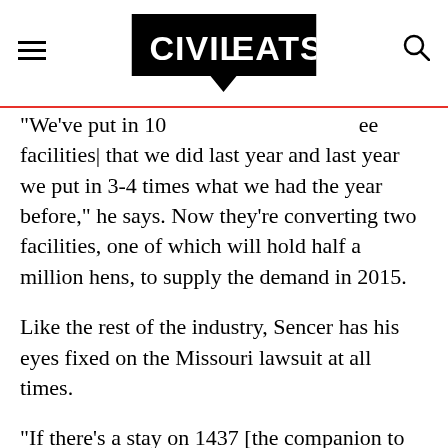Civil Eats [logo]
“We’ve put in 10 [times what we put in the] ee facilities[ that we did last year and last year we put in 3-4 times what we had the year before,” he says. Now they’re converting two facilities, one of which will hold half a million hens, to supply the demand in 2015.
Like the rest of the industry, Sencer has his eyes fixed on the Missouri lawsuit at all times.
“If there’s a stay on 1437 [the companion to Prop. 2, which mandates eggs coming from out of state must meet the same humane standards] or it gets thrown out as non-constitutional,” he says, cheap battery cage eggs will “continue to flow in from out of state.”